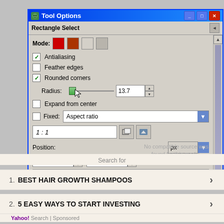[Figure (screenshot): GIMP Tool Options dialog window showing Rectangle Select settings with Mode, Antialiasing (checked), Feather edges (unchecked), Rounded corners (checked) with Radius 13.7, Expand from center (unchecked), Fixed: Aspect ratio dropdown, 1:1 input, Position with px unit, values 98 and 150]
No compatible source was found for this media.
Search for
1. BEST HAIR GROWTH SHAMPOOS
2. 5 EASY WAYS TO START INVESTING
Yahoo! Search | Sponsored